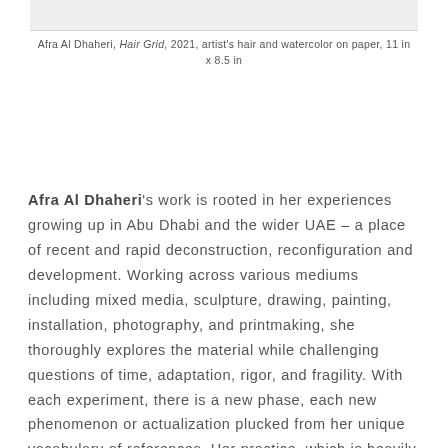[Figure (photo): Top portion of an artwork image, partially visible at the top of the page]
Afra Al Dhaheri, Hair Grid, 2021, artist's hair and watercolor on paper, 11 in x 8.5 in
Afra Al Dhaheri's work is rooted in her experiences growing up in Abu Dhabi and the wider UAE – a place of recent and rapid deconstruction, reconfiguration and development. Working across various mediums including mixed media, sculpture, drawing, painting, installation, photography, and printmaking, she thoroughly explores the material while challenging questions of time, adaptation, rigor, and fragility. With each experiment, there is a new phase, each new phenomenon or actualization plucked from her unique vocabulary of references. Her practice, which is heavily process-driven, utilizes repetition as a method for prolonging time